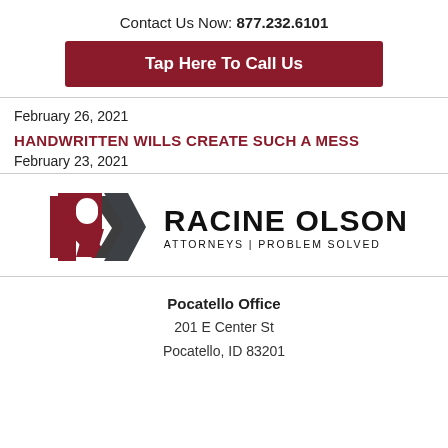Contact Us Now: 877.232.6101
Tap Here To Call Us
February 26, 2021
HANDWRITTEN WILLS CREATE SUCH A MESS
February 23, 2021
[Figure (logo): Racine Olson law firm logo: stylized R in red and dark grey, with firm name RACINE OLSON and tagline ATTORNEYS | PROBLEM SOLVED]
Pocatello Office
201 E Center St
Pocatello, ID 83201